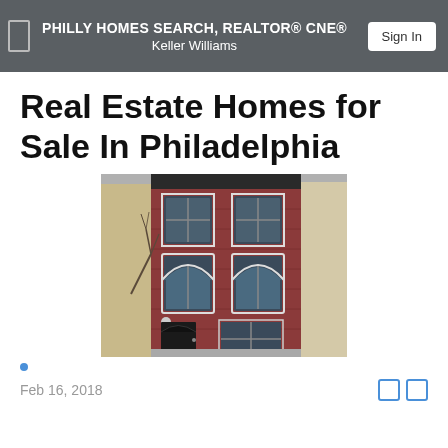PHILLY HOMES SEARCH, REALTOR® CNE® Keller Williams
Real Estate Homes for Sale In Philadelphia
[Figure (photo): Exterior photo of a red brick rowhouse in Philadelphia, three stories tall with arched windows on upper floors and a dark front door at street level, flanked by adjacent buildings.]
Feb 16, 2018